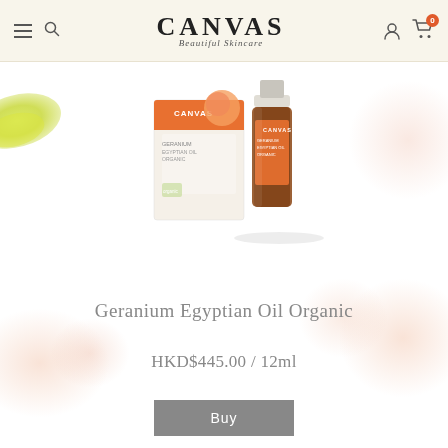CANVAS Beautiful Skincare — navigation header with hamburger menu, search, account and cart icons (0 items)
[Figure (photo): Canvas Geranium Egyptian Oil Organic product — a small amber bottle next to its white and orange retail box]
Geranium Egyptian Oil Organic
HKD$445.00 / 12ml
Buy